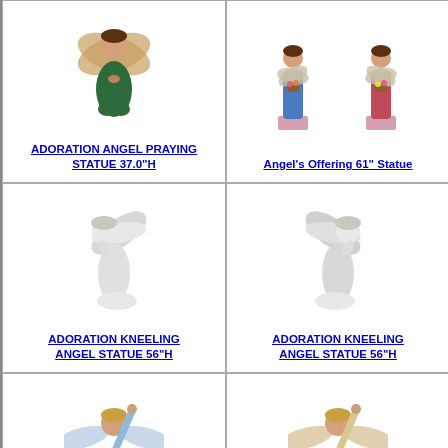[Figure (photo): Kneeling angel praying statue in green robes with wings, 37 inches tall]
ADORATION ANGEL PRAYING STATUE 37.0"H
[Figure (photo): Two tall standing angel statues, one in blue and one in pink/red, each holding flower baskets, on pedestals, 61 inches tall]
Angel's Offering 61" Statue
[Figure (photo): White/marble-finish kneeling angel statue facing left, 56 inches tall]
ADORATION KNEELING ANGEL STATUE 56"H
[Figure (photo): White/marble-finish kneeling angel statue facing right, 56 inches tall]
ADORATION KNEELING ANGEL STATUE 56"H
[Figure (photo): Light blue robed angel statue with arms raised and wings spread, colorful]
[Figure (photo): Beige/gold robed angel statue with arms raised and wings spread, colorful]